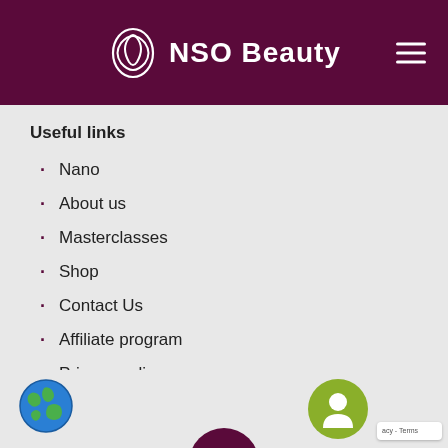NSO Beauty
Useful links
Nano
About us
Masterclasses
Shop
Contact Us
Affiliate program
Privacy policy
[Figure (logo): Globe/world icon in blue at bottom left]
[Figure (logo): Green chat bubble icon at bottom right with reCAPTCHA badge showing 'acy - Terms']